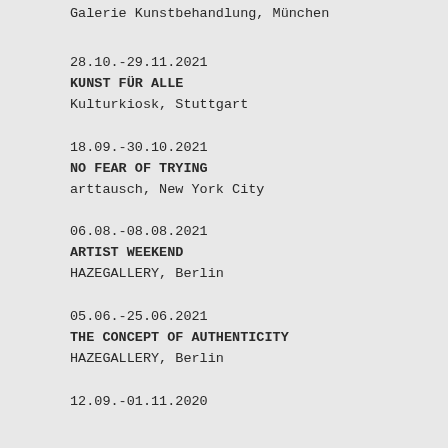Galerie Kunstbehandlung, München
28.10.-29.11.2021
KUNST FÜR ALLE
Kulturkiosk, Stuttgart
18.09.-30.10.2021
NO FEAR OF TRYING
arttausch, New York City
06.08.-08.08.2021
ARTIST WEEKEND
HAZEGALLERY, Berlin
05.06.-25.06.2021
THE CONCEPT OF AUTHENTICITY
HAZEGALLERY, Berlin
12.09.-01.11.2020